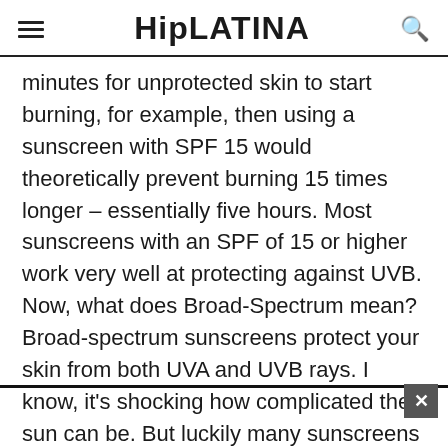HipLATINA
minutes for unprotected skin to start burning, for example, then using a sunscreen with SPF 15 would theoretically prevent burning 15 times longer – essentially five hours. Most sunscreens with an SPF of 15 or higher work very well at protecting against UVB. Now, what does Broad-Spectrum mean? Broad-spectrum sunscreens protect your skin from both UVA and UVB rays. I know, it's shocking how complicated the sun can be. But luckily many sunscreens include broad-